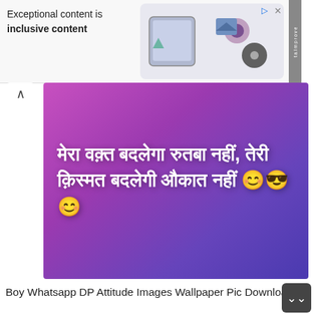[Figure (screenshot): Advertisement banner with text 'Exceptional content is inclusive content' and device illustrations]
[Figure (illustration): Pink-purple gradient image with Hindi text in white: मेरा वक्त बदलेगा रुतबा नहीं, तेरी क़िस्मत बदलेगी औकात नहीं 😊😎😊]
Boy Whatsapp DP Attitude Images Wallpaper Pic Download
[Figure (photo): Photo of a young man with stylish messy hair, close-up portrait]